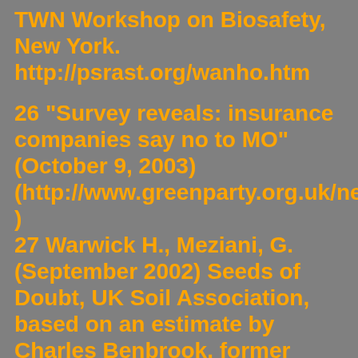TWN Workshop on Biosafety, New York. http://psrast.org/wanho.htm
26 "Survey reveals: insurance companies say no to MO" (October 9, 2003) (http://www.greenparty.org.uk/news/836 )
27 Warwick H., Meziani, G. (September 2002) Seeds of Doubt, UK Soil Association, based on an estimate by Charles Benbrook, former